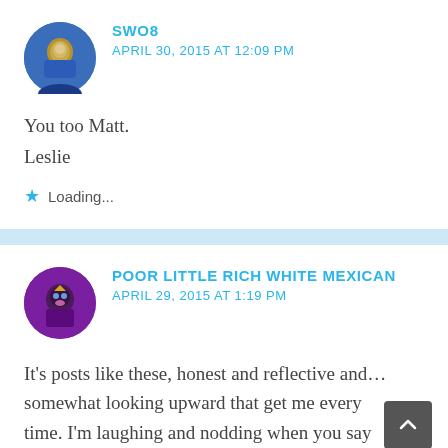SWO8 — APRIL 30, 2015 AT 12:09 PM
You too Matt.
Leslie
★ Loading...
POOR LITTLE RICH WHITE MEXICAN — APRIL 29, 2015 AT 1:19 PM
It's posts like these, honest and reflective and... somewhat looking upward that get me every time. I'm laughing and nodding when you say